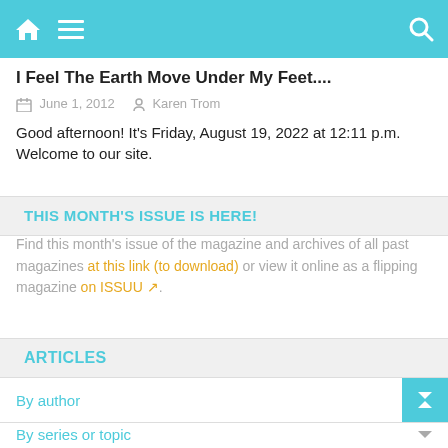Navigation bar with home icon, menu icon, and search icon
I Feel The Earth Move Under My Feet....
June 1, 2012  Karen Trom
Good afternoon! It's Friday, August 19, 2022 at 12:11 p.m. Welcome to our site.
THIS MONTH'S ISSUE IS HERE!
Find this month's issue of the magazine and archives of all past magazines at this link (to download) or view it online as a flipping magazine on ISSUU.
ARTICLES
By author
By series or topic